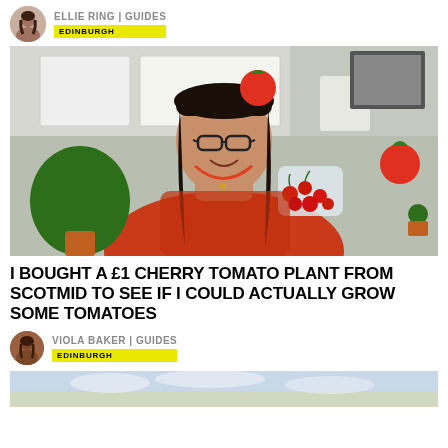ELLIE RING | GUIDES — EDINBURGH
[Figure (photo): Woman smiling holding a cherry tomato plant and a tray of red cherry tomatoes, with tomato and plant emojis floating around her, kitchen background]
I BOUGHT A £1 CHERRY TOMATO PLANT FROM SCOTMID TO SEE IF I COULD ACTUALLY GROW SOME TOMATOES
VIOLA BAKER | GUIDES — EDINBURGH
[Figure (photo): Partial image at bottom of page, sky with clouds visible]